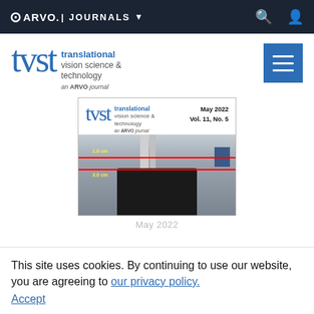ARVO. JOURNALS
[Figure (logo): TVST - Translational Vision Science & Technology journal logo with blue text and menu button]
[Figure (photo): TVST journal cover for May 2022 Vol. 11 No. 5 showing lab equipment with measurement overlays (1.0 cm and 3.0 cm red lines)]
This site uses cookies. By continuing to use our website, you are agreeing to our privacy policy. Accept